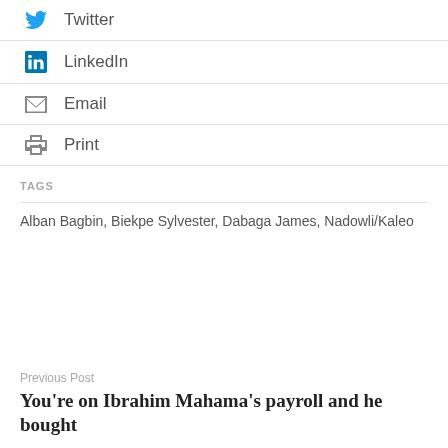Twitter
LinkedIn
Email
Print
TAGS
Alban Bagbin, Biekpe Sylvester, Dabaga James, Nadowli/Kaleo
Previous Post
You're on Ibrahim Mahama's payroll and he bought ...